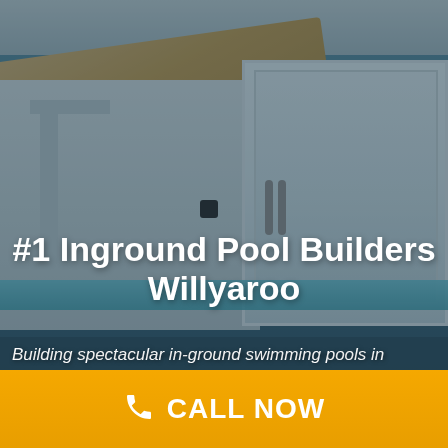[Figure (photo): A modern house exterior with large glass sliding doors, wood-paneled ceiling overhang, and a swimming pool in the foreground, overlaid with a dark teal tint.]
#1 Inground Pool Builders Willyaroo
Building spectacular in-ground swimming pools in
CALL NOW